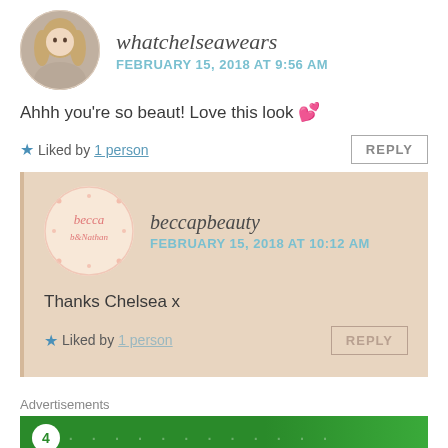[Figure (photo): Circular avatar photo of a blonde woman]
whatchelseawears
FEBRUARY 15, 2018 AT 9:56 AM
Ahhh you're so beaut! Love this look 💕
★ Liked by 1 person
REPLY
[Figure (logo): Circular beccapbeauty logo with pink handwritten text on light pink background with dots]
beccapbeauty
FEBRUARY 15, 2018 AT 10:12 AM
Thanks Chelsea x
★ Liked by 1 person
REPLY
Advertisements